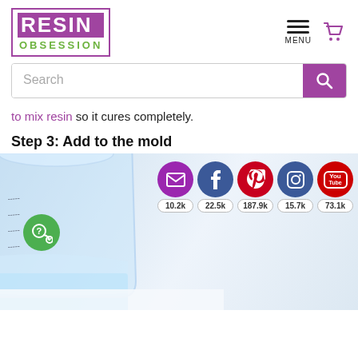[Figure (logo): Resin Obsession logo — purple box with white RESIN text and green OBSESSION text]
[Figure (infographic): Hamburger menu icon with MENU label and purple shopping cart icon]
[Figure (screenshot): Search bar with purple search button]
to mix resin so it cures completely.
Step 3: Add to the mold
[Figure (photo): Photo of a clear measuring cup/beaker pouring clear resin liquid, with social media share buttons overlay showing email (10.2k), Facebook (22.5k), Pinterest (187.9k), Instagram (15.7k), YouTube (73.1k), and a green chat/help button]
Social share counts: email 10.2k, Facebook 22.5k, Pinterest 187.9k, Instagram 15.7k, YouTube 73.1k